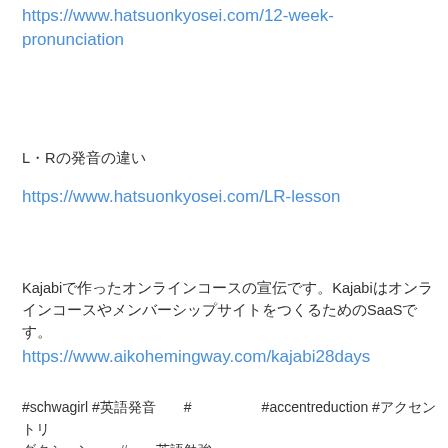https://www.hatsuonkyosei.com/12-week-pronunciation
LとRの発音の違い
https://www.hatsuonkyosei.com/LR-lesson
Kajabiで作ったオンラインコースの宣伝です。KajabiはオンラインコースやメンバーシップサイトをつくるためのSaaSです。
https://www.aikohemingway.com/kajabi28days
#schwagirl #英語発音　#英語　　#accentreduction #アクセントリダクション　　#英語発音　#　英語勉強